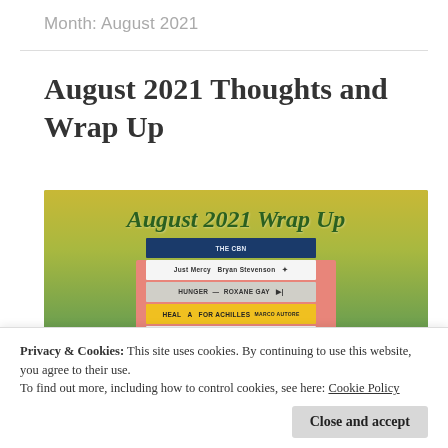Month: August 2021
August 2021 Thoughts and Wrap Up
[Figure (photo): Photo of a stack of books on green grass with a pink/red backdrop, showing book titles including 'Just Mercy', 'Hunger by Roxane Gay', 'Heal for Achilles', 'Children of Virtue and Vengeance'. Text overlay reads 'August 2021 Wrap Up' in dark green italic font.]
Privacy & Cookies: This site uses cookies. By continuing to use this website, you agree to their use.
To find out more, including how to control cookies, see here: Cookie Policy
the way I could start every single wrap up this year.